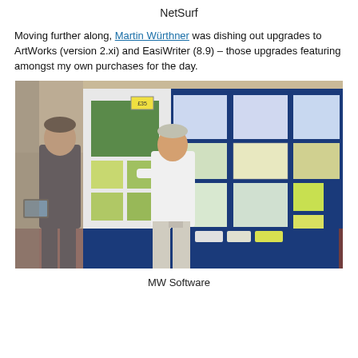NetSurf
Moving further along, Martin Würthner was dishing out upgrades to ArtWorks (version 2.xi) and EasiWriter (8.9) – those upgrades featuring amongst my own purchases for the day.
[Figure (photo): Two men at a trade show stand. One man in a dark suit holds a tablet, the other in a white shirt and light trousers stands at a blue display board covered with printed materials and posters. A blue tablecloth covers the table in front.]
MW Software